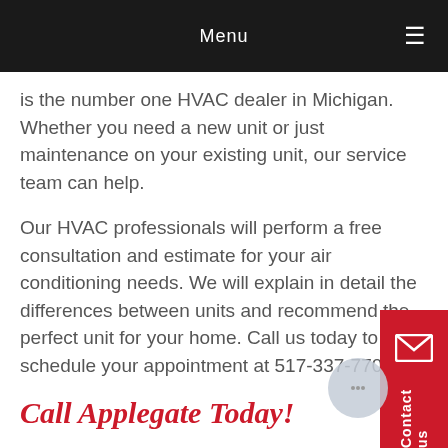Menu
is the number one HVAC dealer in Michigan. Whether you need a new unit or just maintenance on your existing unit, our service team can help.
Our HVAC professionals will perform a free consultation and estimate for your air conditioning needs. We will explain in detail the differences between units and recommend the perfect unit for your home. Call us today to schedule your appointment at 517-337-7700.
Call Applegate Today!
Applegate Home Comfort has been serving the people of Okemos since 1952. With our 98%